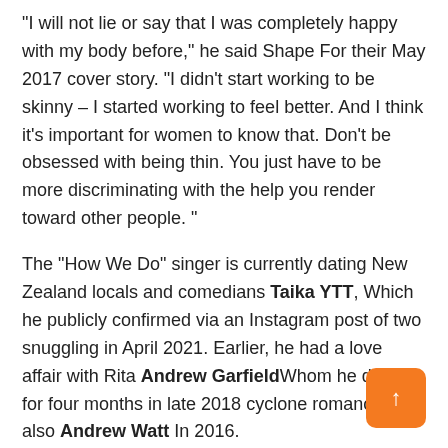“I will not lie or say that I was completely happy with my body before,” he said Shape For their May 2017 cover story. “I didn’t start working to be skinny – I started working to feel better. And I think it’s important for women to know that. Don’t be obsessed with being thin. You just have to be more discriminating with the help you render toward other people. “
The “How We Do” singer is currently dating New Zealand locals and comedians Taika YTT, Which he publicly confirmed via an Instagram post of two snuggling in April 2021. Earlier, he had a love affair with Rita Andrew GarfieldWhom he dated for four months in late 2018 cyclone romance. He also Andrew Watt In 2016.